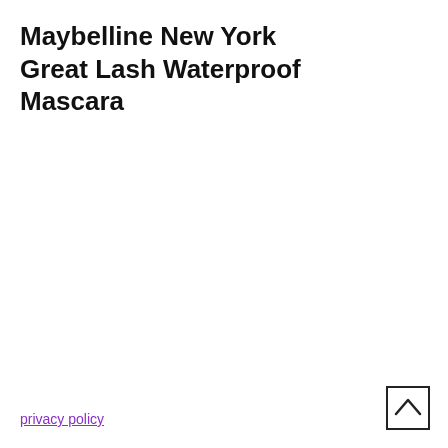Maybelline New York Great Lash Waterproof Mascara
privacy policy
[Figure (other): Scroll-to-top button icon — a square with an upward-pointing chevron arrow inside]